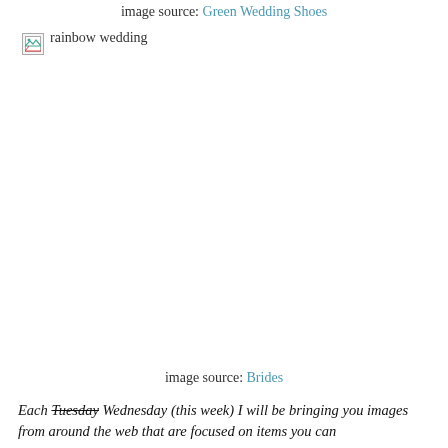image source: Green Wedding Shoes
[Figure (photo): Broken image placeholder labeled 'rainbow wedding']
image source: Brides
Each Tuesday Wednesday (this week) I will be bringing you images from around the web that are focused on items you can